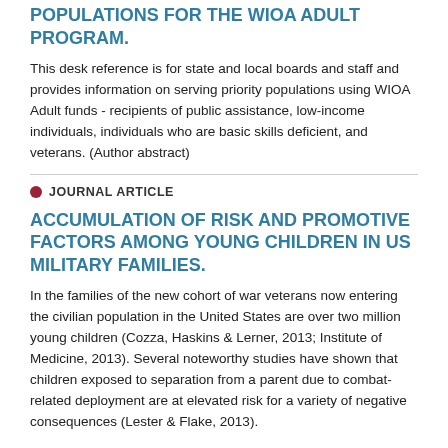POPULATIONS FOR THE WIOA ADULT PROGRAM.
This desk reference is for state and local boards and staff and provides information on serving priority populations using WIOA Adult funds - recipients of public assistance, low-income individuals, individuals who are basic skills deficient, and veterans. (Author abstract)
JOURNAL ARTICLE
ACCUMULATION OF RISK AND PROMOTIVE FACTORS AMONG YOUNG CHILDREN IN US MILITARY FAMILIES.
In the families of the new cohort of war veterans now entering the civilian population in the United States are over two million young children (Cozza, Haskins & Lerner, 2013; Institute of Medicine, 2013). Several noteworthy studies have shown that children exposed to separation from a parent due to combat-related deployment are at elevated risk for a variety of negative consequences (Lester & Flake, 2013).